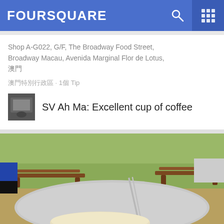FOURSQUARE
Shop A-G022, G/F, The Broadway Food Street, Broadway Macau, Avenida Marginal Flor de Lotus, 澳門
澳門特別行政區 · 1個 Tip
SV Ah Ma: Excellent cup of coffee
[Figure (photo): Outdoor seating area with wooden benches and tables on grass, with a close-up of a coffee cup with a straw in the foreground]
29. Miru Miru
澳門特別行政區 · 1個 Tip